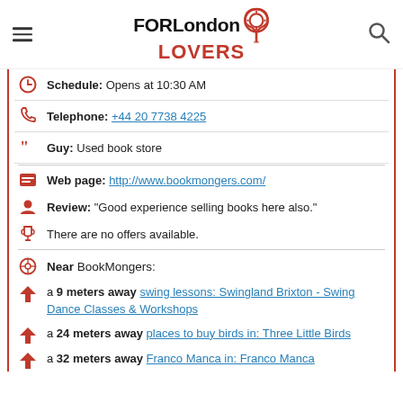FORLondon LOVERS
Schedule: Opens at 10:30 AM
Telephone: +44 20 7738 4225
Guy: Used book store
Web page: http://www.bookmongers.com/
Review: "Good experience selling books here also."
There are no offers available.
Near BookMongers:
a 9 meters away swing lessons: Swingland Brixton - Swing Dance Classes & Workshops
a 24 meters away places to buy birds in: Three Little Birds
a 32 meters away Franco Manca in: Franco Manca